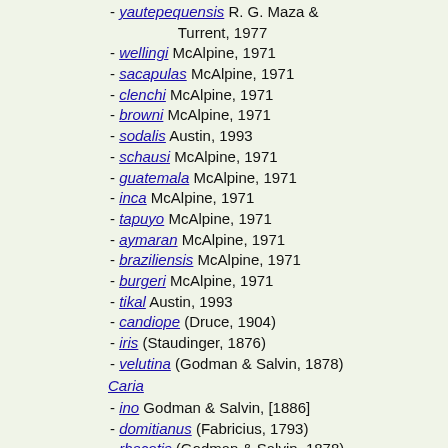- yautepequensis R. G. Maza & Turrent, 1977
- wellingi McAlpine, 1971
- sacapulas McAlpine, 1971
- clenchi McAlpine, 1971
- browni McAlpine, 1971
- sodalis Austin, 1993
- schausi McAlpine, 1971
- guatemala McAlpine, 1971
- inca McAlpine, 1971
- tapuyo McAlpine, 1971
- aymaran McAlpine, 1971
- braziliensis McAlpine, 1971
- burgeri McAlpine, 1971
- tikal Austin, 1993
- candiope (Druce, 1904)
- iris (Staudinger, 1876)
- velutina (Godman & Salvin, 1878)
Caria
- ino Godman & Salvin, [1886]
- domitianus (Fabricius, 1793)
- rhacotis (Godman & Salvin, 1878)
- stillaticia Dyar, 1912
- melino Dyar, 1912
- trochilus Erichson, [1849]